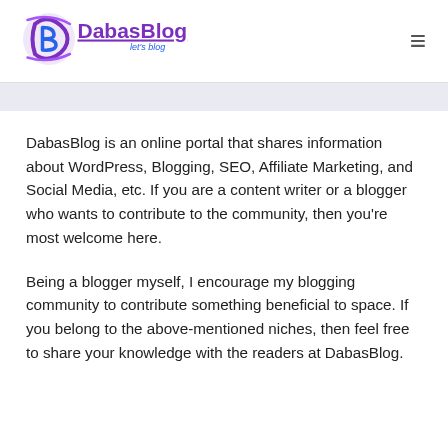[Figure (logo): DabasBlog logo with stylized DB letters and purple/blue text reading 'DabasBlog let's blog']
DabasBlog is an online portal that shares information about WordPress, Blogging, SEO, Affiliate Marketing, and Social Media, etc. If you are a content writer or a blogger who wants to contribute to the community, then you're most welcome here.
Being a blogger myself, I encourage my blogging community to contribute something beneficial to space. If you belong to the above-mentioned niches, then feel free to share your knowledge with the readers at DabasBlog.